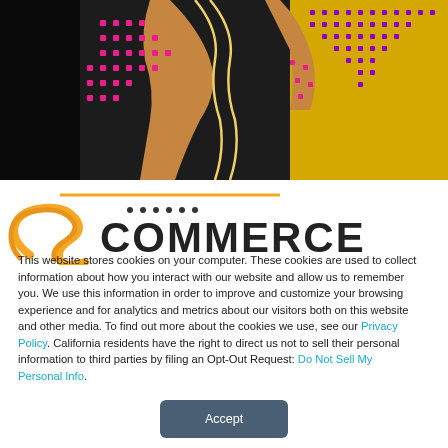[Figure (photo): Cropped photo of a person wearing a yellow shirt with purple/pink dot pattern and a dark garment with pink dots, on a black background. The image is partially cut off showing torso and arms.]
[Figure (logo): Partial S-Commerce logo: orange curved S shape with diagonal orange line, followed by dotted letters and 'COMMERCE' text in large dark letters.]
This website stores cookies on your computer. These cookies are used to collect information about how you interact with our website and allow us to remember you. We use this information in order to improve and customize your browsing experience and for analytics and metrics about our visitors both on this website and other media. To find out more about the cookies we use, see our Privacy Policy. California residents have the right to direct us not to sell their personal information to third parties by filing an Opt-Out Request: Do Not Sell My Personal Info.
Accept